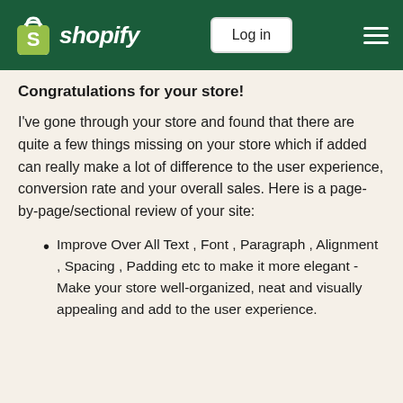shopify | Log in
Congratulations for your store!
I've gone through your store and found that there are quite a few things missing on your store which if added can really make a lot of difference to the user experience, conversion rate and your overall sales. Here is a page-by-page/sectional review of your site:
Improve Over All Text , Font , Paragraph , Alignment , Spacing , Padding etc to make it more elegant - Make your store well-organized, neat and visually appealing and add to the user experience.